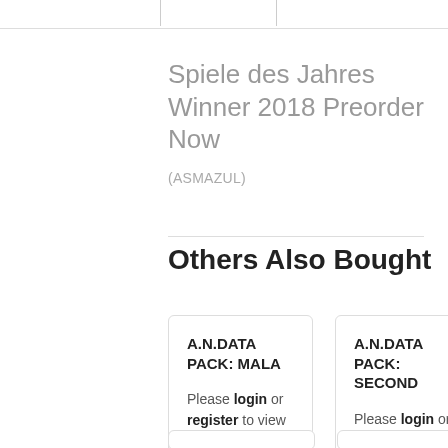Spiele des Jahres Winner 2018 Preorder Now
(ASMAZUL)
Others Also Bought
A.N.DATA PACK: MALA
Please login or register to view
A.N.DATA PACK: SECOND
Please login or register to view